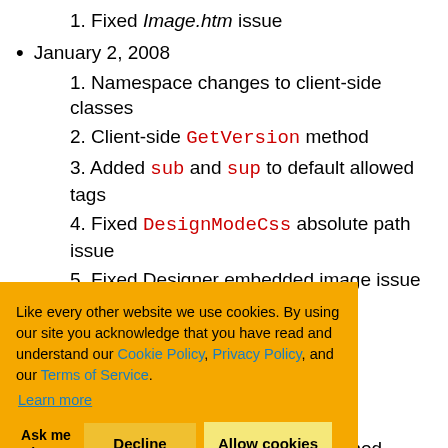1. Fixed Image.htm issue
January 2, 2008
1. Namespace changes to client-side classes
2. Client-side GetVersion method
3. Added sub and sup to default allowed tags
4. Fixed DesignModeCss absolute path issue
5. Fixed Designer embedded image issue
December 2, 2007
...oups property
...s horizontal
...erty
...ibute
4. Fixed GetText client-side method
Like every other website we use cookies. By using our site you acknowledge that you have read and understand our Cookie Policy, Privacy Policy, and our Terms of Service. Learn more
Ask me later | Decline | Allow cookies